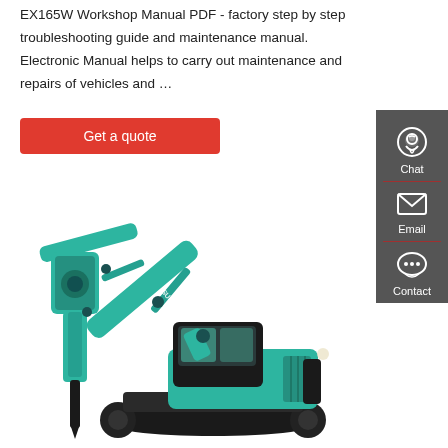EX165W Workshop Manual PDF - factory step by step troubleshooting guide and maintenance manual. Electronic Manual helps to carry out maintenance and repairs of vehicles and …
[Figure (other): Red 'Get a quote' button]
[Figure (other): Dark grey sidebar with Chat, Email, and Contact icons and labels]
[Figure (photo): Sunward teal/green excavator with hydraulic hammer attachment on a white background]